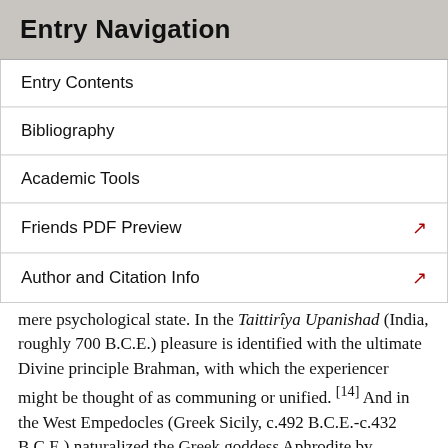Entry Navigation
Entry Contents
Bibliography
Academic Tools
Friends PDF Preview
Author and Citation Info
mere psychological state. In the Taittirîya Upanishad (India, roughly 700 B.C.E.) pleasure is identified with the ultimate Divine principle Brahman, with which the experiencer might be thought of as communing or unified. [14] And in the West Empedocles (Greek Sicily, c.492 B.C.E.-c.432 B.C.E.) naturalized the Greek goddess Aphrodite by identifying both her and pleasure with his cosmic attractive force of Love, foreshadowing both medieval Christian theologians (§2.3.1; ¶2) and those recent writers who think of pleasure as a unitary attitude (§2.3.2) or stance (§2.3.3). [15]